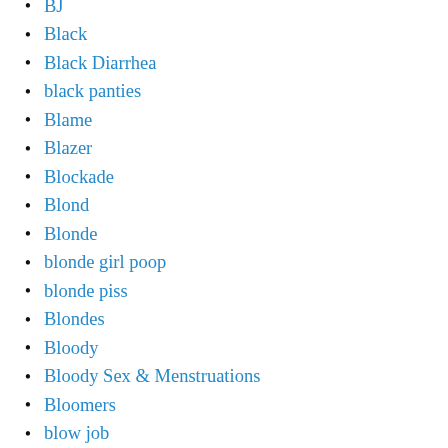BJ
Black
Black Diarrhea
black panties
Blame
Blazer
Blockade
Blond
Blonde
blonde girl poop
blonde piss
Blondes
Bloody
Bloody Sex & Menstruations
Bloomers
blow job
Blowjob C…